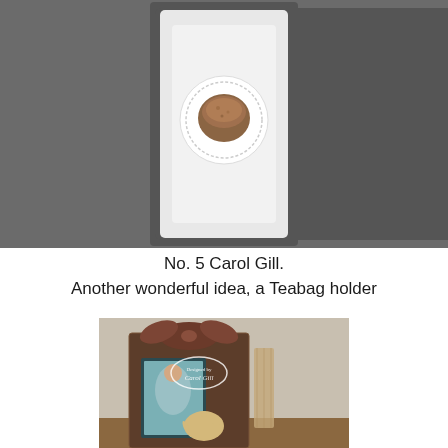[Figure (photo): Top-down photo of a white square plate with a doily and a cupcake or muffin on it, on a dark surface]
No. 5 Carol Gill.
Another wonderful idea, a Teabag holder
[Figure (photo): A decorated teabag holder craft project with a brown bow on top, vintage woman image, burlap ribbon, and a wooden teapot embellishment, stamped with Carol Gill's designer stamp]